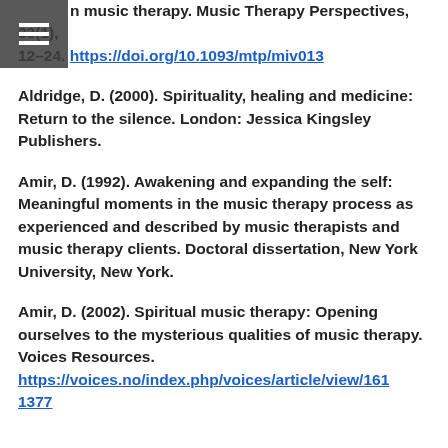n music therapy. Music Therapy Perspectives, 33(1), 12–24. https://doi.org/10.1093/mtp/miv013
Aldridge, D. (2000). Spirituality, healing and medicine: Return to the silence. London: Jessica Kingsley Publishers.
Amir, D. (1992). Awakening and expanding the self: Meaningful moments in the music therapy process as experienced and described by music therapists and music therapy clients. Doctoral dissertation, New York University, New York.
Amir, D. (2002). Spiritual music therapy: Opening ourselves to the mysterious qualities of music therapy. Voices Resources. https://voices.no/index.php/voices/article/view/161 1377